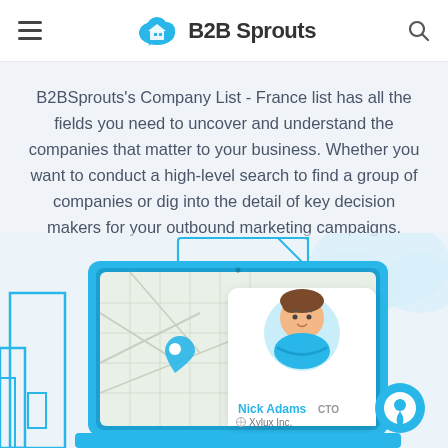B2B Sprouts
B2BSprouts's Company List - France list has all the fields you need to uncover and understand the companies that matter to your business. Whether you want to conduct a high-level search to find a group of companies or dig into the detail of key decision makers for your outbound marketing campaigns.
[Figure (illustration): Illustration of a laptop showing a map interface with a profile card for 'Nick Adams, CTO at Xylux Inc.' along with building outlines and location pin icons in a light blue color scheme.]